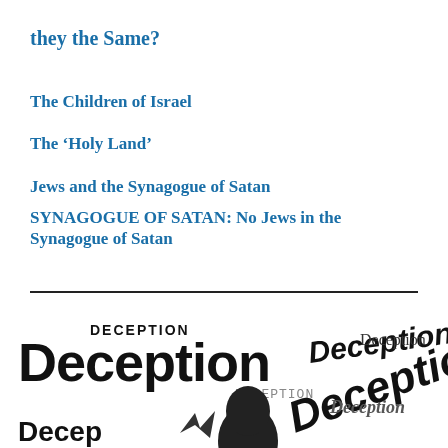they the Same?
The Children of Israel
The ‘Holy Land’
Jews and the Synagogue of Satan
SYNAGOGUE OF SATAN: No Jews in the Synagogue of Satan
[Figure (illustration): Collage of the word 'Deception' repeated in various fonts, sizes, and orientations, with a silhouette of a person's head visible in the lower portion.]